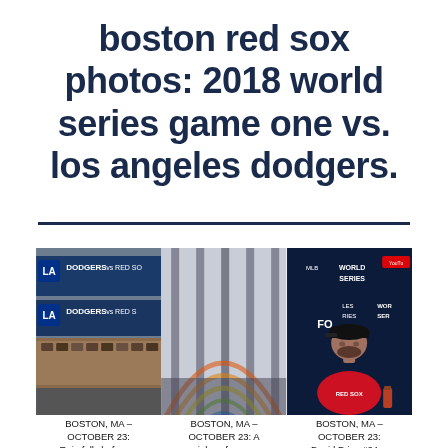boston red sox photos: 2018 world series game one vs. los angeles dodgers.
[Figure (photo): Scoreboard at stadium showing DODGERS vs RED SOX]
[Figure (photo): Rainbow forms through stadium glass/windows]
[Figure (photo): David Price #24 at World Series press conference in front of World Series backdrop]
BOSTON, MA – OCTOBER 23: Rain falls before…
BOSTON, MA – OCTOBER 23: A rainbow forms…
BOSTON, MA – OCTOBER 23: David Price #24…